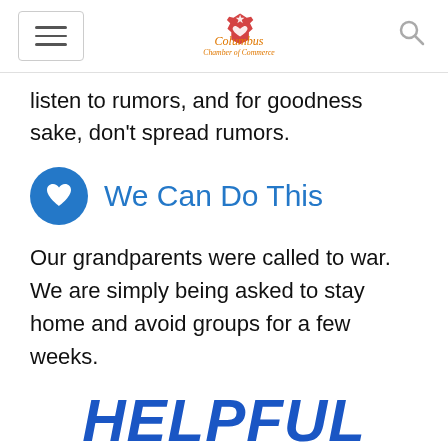Columbus Chamber of Commerce navigation header
listen to rumors, and for goodness sake, don't spread rumors.
We Can Do This
Our grandparents were called to war. We are simply being asked to stay home and avoid groups for a few weeks.
HELPFUL LINKS
Coronavirus Small Business Issues and Solutions Guide